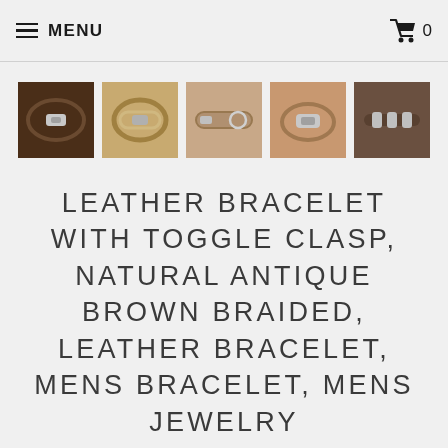MENU   0
[Figure (photo): Five thumbnail photos of leather bracelets with toggle clasps shown in a horizontal row]
LEATHER BRACELET WITH TOGGLE CLASP, NATURAL ANTIQUE BROWN BRAIDED, LEATHER BRACELET, MENS BRACELET, MENS JEWELRY